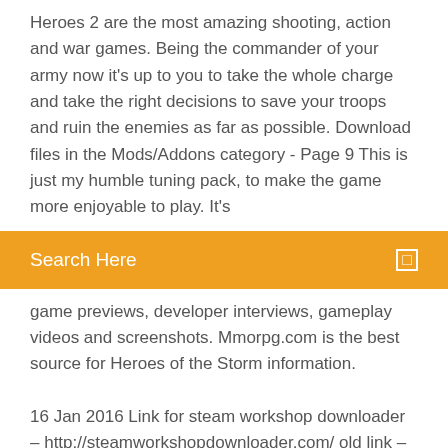Heroes 2 are the most amazing shooting, action and war games. Being the commander of your army now it's up to you to take the whole charge and take the right decisions to save your troops and ruin the enemies as far as possible. Download files in the Mods/Addons category - Page 9 This is just my humble tuning pack, to make the game more enjoyable to play. It's
[Figure (screenshot): Orange search bar with 'Search Here' text and a small icon on the right]
game previews, developer interviews, gameplay videos and screenshots. Mmorpg.com is the best source for Heroes of the Storm information.

16 Jan 2016 Link for steam workshop downloader – http://steamworkshopdownloader.com/ old link – http://steamworkshop.download/ new link its for all  25 Dec 2018 Company of Heroes 2 Workshop/Custom maps problems of my favorite custom maps acquired from the workshop simply wont show up and removing various folders with mods for re-